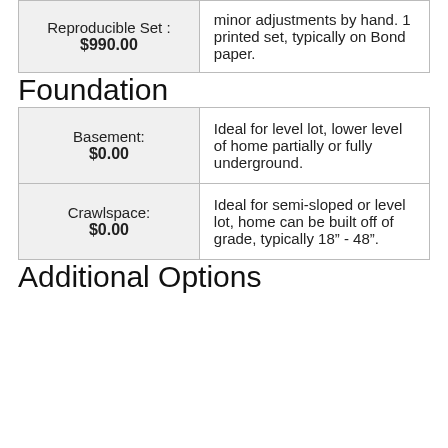| Product | Description |
| --- | --- |
| Reproducible Set:
$990.00 | minor adjustments by hand. 1 printed set, typically on Bond paper. |
Foundation
| Option | Description |
| --- | --- |
| Basement:
$0.00 | Ideal for level lot, lower level of home partially or fully underground. |
| Crawlspace:
$0.00 | Ideal for semi-sloped or level lot, home can be built off of grade, typically 18” - 48”. |
Additional Options